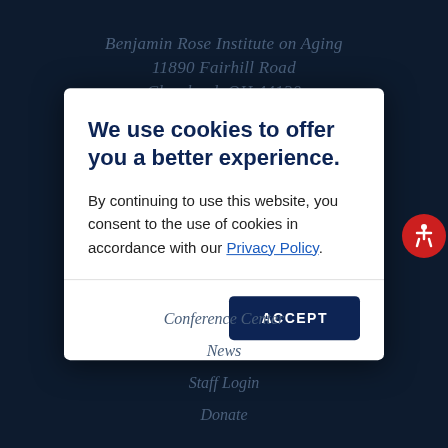Benjamin Rose Institute on Aging
11890 Fairhill Road
Cleveland, OH 44120
216-791-8000
We use cookies to offer you a better experience.
By continuing to use this website, you consent to the use of cookies in accordance with our Privacy Policy.
ACCEPT
Conference Center
News
Staff Login
Donate